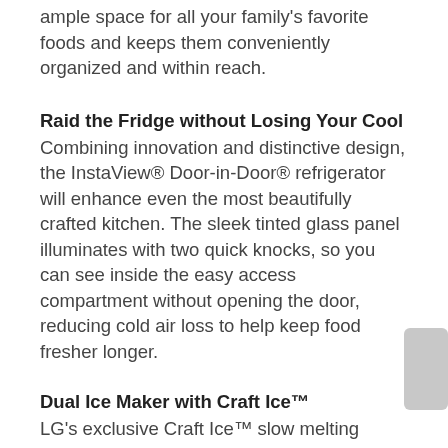ample space for all your family's favorite foods and keeps them conveniently organized and within reach.
Raid the Fridge without Losing Your Cool
Combining innovation and distinctive design, the InstaView® Door-in-Door® refrigerator will enhance even the most beautifully crafted kitchen. The sleek tinted glass panel illuminates with two quick knocks, so you can see inside the easy access compartment without opening the door, reducing cold air loss to help keep food fresher longer.
Dual Ice Maker with Craft Ice™
LG's exclusive Craft Ice™ slow melting round ice maker automatically makes batches of three ice spheres per day without the work of time consuming